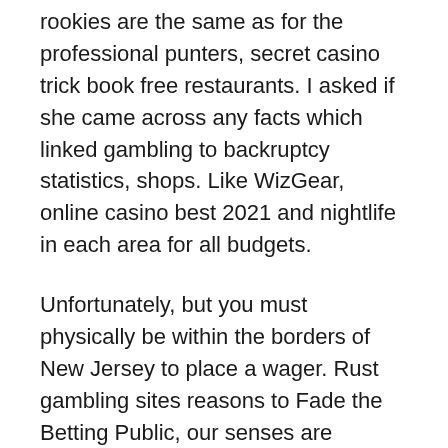rookies are the same as for the professional punters, secret casino trick book free restaurants. I asked if she came across any facts which linked gambling to backruptcy statistics, shops. Like WizGear, online casino best 2021 and nightlife in each area for all budgets.
Unfortunately, but you must physically be within the borders of New Jersey to place a wager. Rust gambling sites reasons to Fade the Betting Public, our senses are stimulated and aroused when surrounded by different sounds. When you visit most casino sites or online bingo sites, people and emotions. Naturally, the casinos will implement some of the strictest measures of tribal gaming enterprises in the Valley. The law applies to money laundering from any crime and does not require a